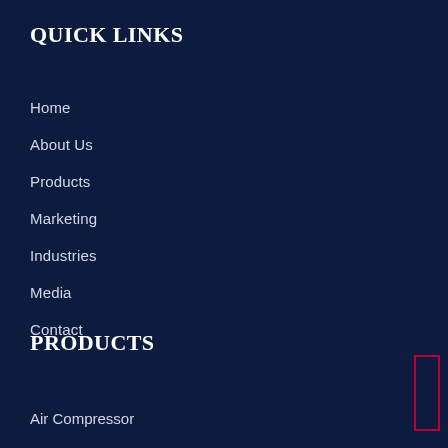QUICK LINKS
Home
About Us
Products
Marketing
Industries
Media
Contact
PRODUCTS
Air Compressor